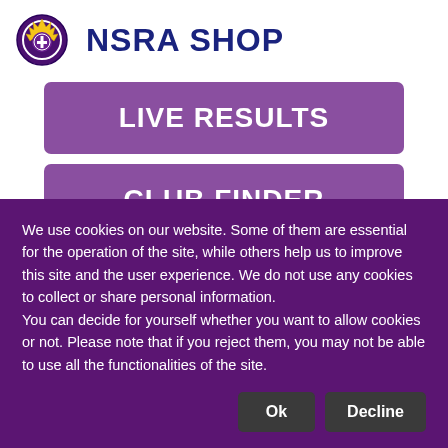[Figure (logo): NSRA Shop logo with badge emblem and blue bold text NSRA SHOP]
LIVE RESULTS
CLUB FINDER
We use cookies on our website. Some of them are essential for the operation of the site, while others help us to improve this site and the user experience. We do not use any cookies to collect or share personal information.
You can decide for yourself whether you want to allow cookies or not. Please note that if you reject them, you may not be able to use all the functionalities of the site.
Ok
Decline